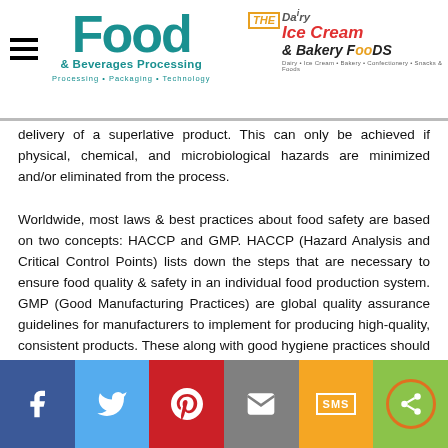Food & Beverages Processing | The Dairy Ice Cream & Bakery Foods
delivery of a superlative product. This can only be achieved if physical, chemical, and microbiological hazards are minimized and/or eliminated from the process.
Worldwide, most laws & best practices about food safety are based on two concepts: HACCP and GMP. HACCP (Hazard Analysis and Critical Control Points) lists down the steps that are necessary to ensure food quality & safety in an individual food production system. GMP (Good Manufacturing Practices) are global quality assurance guidelines for manufacturers to implement for producing high-quality, consistent products. These along with good hygiene practices should make up the cornerstones of any food safety policy. In addition to this, it is advisable to set up a food safety management team to conduct supplier audits along with effective pest control and environmental monitoring system to ensure complete protection. Quality checks before dispatch and testing of products in an accredited lab as per requirement by FSSAI on regular basis also help in maintaining consistency.
[Figure (infographic): Social media sharing bar with Facebook, Twitter, Pinterest, Email, SMS, and Share buttons]